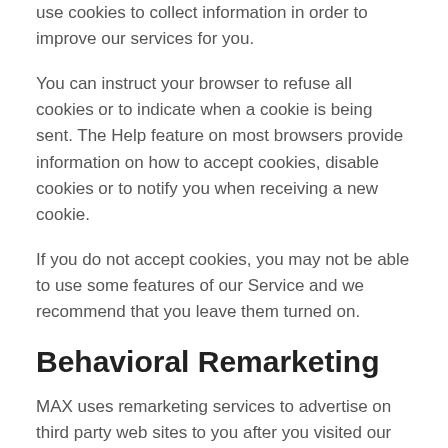use cookies to collect information in order to improve our services for you.
You can instruct your browser to refuse all cookies or to indicate when a cookie is being sent. The Help feature on most browsers provide information on how to accept cookies, disable cookies or to notify you when receiving a new cookie.
If you do not accept cookies, you may not be able to use some features of our Service and we recommend that you leave them turned on.
Behavioral Remarketing
MAX uses remarketing services to advertise on third party web sites to you after you visited our Service. We, and our third party vendors, use cookies to inform, optimize and serve ads based on your past visits to our Service.